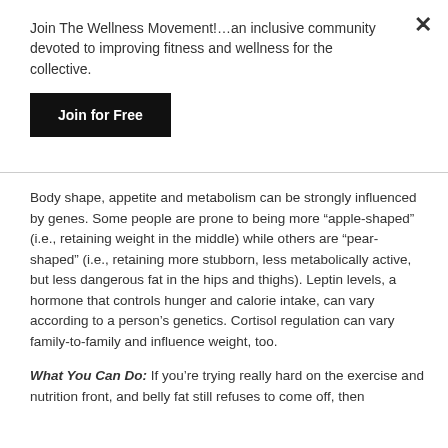Join The Wellness Movement!…an inclusive community devoted to improving fitness and wellness for the collective.
Join for Free
Body shape, appetite and metabolism can be strongly influenced by genes.  Some people are prone to being more “apple-shaped” (i.e., retaining weight in the middle) while others are “pear-shaped” (i.e., retaining more stubborn, less metabolically active, but less dangerous fat in the hips and thighs). Leptin levels, a hormone that controls hunger and calorie intake, can vary according to a person’s genetics. Cortisol regulation can vary family-to-family and influence weight, too.
What You Can Do: If you’re trying really hard on the exercise and nutrition front, and belly fat still refuses to come off, then